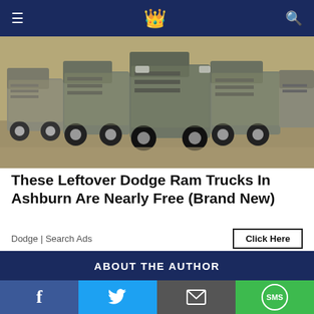≡  [site logo icon]  🔍
[Figure (photo): Row of covered Dodge Ram trucks parked in a dusty lot, viewed from the front, in a sepia/grayscale tone]
These Leftover Dodge Ram Trucks In Ashburn Are Nearly Free (Brand New)
Dodge | Search Ads
Click Here
ABOUT THE AUTHOR
[Figure (photo): Thumbnail of covered trucks in a parking structure, same ad image]
These Leftover Dodge Ram Trucks In Ashburn Are Nearly Free (Brand New)
Dodge | Search Ads | Sponsored
f  [twitter bird]  [envelope]  SMS